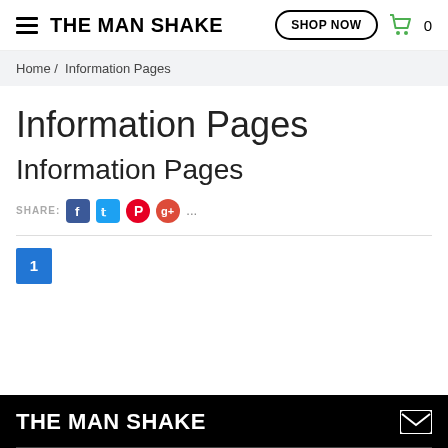THE MAN SHAKE | SHOP NOW | 0
Home / Information Pages
Information Pages
Information Pages
SHARE: [Facebook] [Twitter] [Pinterest] [Google+] ...
1
THE MAN SHAKE [envelope icon]